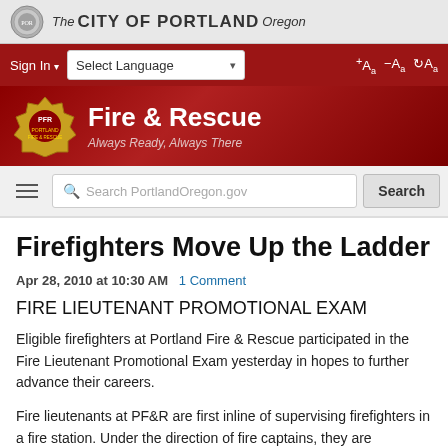The CITY OF PORTLAND Oregon
[Figure (screenshot): City of Portland navigation bar with Sign In, Select Language dropdown, and text size controls on dark red background]
[Figure (logo): Portland Fire & Rescue logo with badge icon. Text: Fire & Rescue, Always Ready, Always There]
[Figure (screenshot): Search bar with hamburger menu icon and Search PortlandOregon.gov input field and Search button]
Firefighters Move Up the Ladder
Apr 28, 2010 at 10:30 AM   1 Comment
FIRE LIEUTENANT PROMOTIONAL EXAM
Eligible firefighters at Portland Fire & Rescue participated in the Fire Lieutenant Promotional Exam yesterday in hopes to further advance their careers.
Fire lieutenants at PF&R are first inline of supervising firefighters in a fire station. Under the direction of fire captains, they are responsible for drilling and instructing firefighters in fire fighting, fire prevention, rescue techniques, and conducting hydrant and